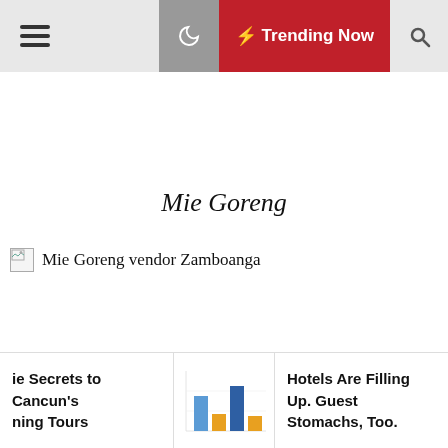Trending Now
Mie Goreng
[Figure (photo): Mie Goreng vendor Zamboanga - broken image placeholder with alt text]
le Secrets to Cancun's ning Tours | Hotels Are Filling Up. Guest Stomachs, Too.